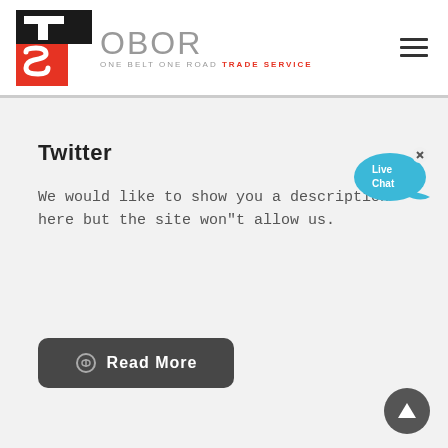OBOR ONE BELT ONE ROAD TRADE SERVICE
Twitter
We would like to show you a description here but the site won"t allow us.
[Figure (other): Live Chat bubble icon]
Read More
[Figure (other): Scroll to top arrow button]